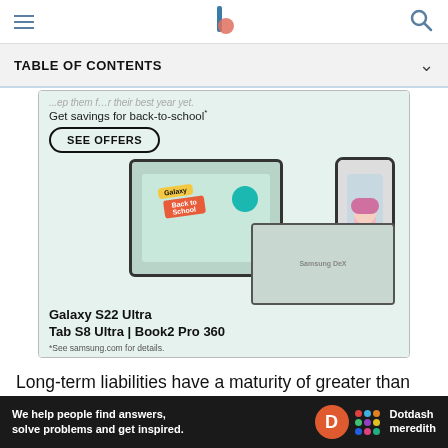TABLE OF CONTENTS
[Figure (screenshot): Samsung Galaxy S22 Ultra, Tab S8 Ultra, Book2 Pro 360 back-to-school advertisement with 'SEE OFFERS' button and device images]
Long-term liabilities have a maturity of greater than one year and include items like mortgage loans.
Equity is the investment a business owner, and any
[Figure (screenshot): Dotdash Meredith bottom advertisement bar: 'We help people find answers, solve problems and get inspired.']